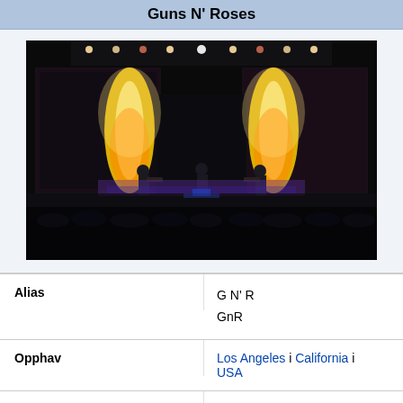Guns N' Roses
[Figure (photo): Concert photo of Guns N' Roses performing on stage with pyrotechnics, large screens, and a crowd in the foreground]
| Label | Value |
| --- | --- |
| Alias | G N' R
GnR |
| Opphav | Los Angeles i California i USA |
| Aktiv | 1985–i dag |
| Sjanger | Hardrock |
| Medlemmer | Axl Rose
Tommy Stinson
Richard Fortus
Dizzy Reed |